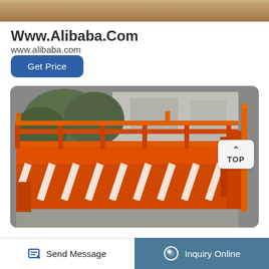[Figure (photo): Top strip showing part of an image at the top of the page]
Www.Alibaba.Com
www.alibaba.com
Get Price
[Figure (photo): Orange industrial vibrating screen / shale shaker equipment photographed outdoors, with a TOP navigation badge overlay in the top-right corner]
Send Message    Inquiry Online